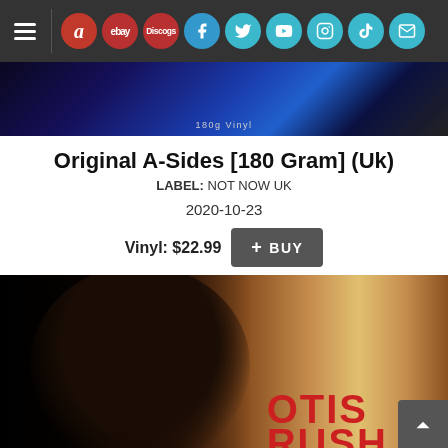[Figure (screenshot): Navigation bar with hamburger menu, Amazon, eBay, Discogs icons in red circles, and Facebook, Twitter, YouTube, Instagram, TikTok, Mail icons in teal circles on dark background]
[Figure (photo): Banner image with blue/dark tones, text reads 180g Vinyl]
Original A-Sides [180 Gram] (Uk)
LABEL: NOT NOW UK
2020-10-23
Vinyl: $22.99  + BUY
[Figure (photo): Album cover photo showing a side profile silhouette of Otis Rush against a light background with OTIS RUSH text in red at bottom right]